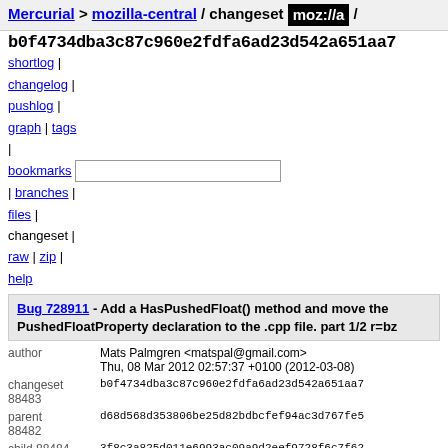Mercurial > mozilla-central / changeset moz://a /
b0f4734dba3c87c960e2fdfa6ad23d542a651aa7
shortlog | changelog | pushlog | graph | tags | bookmarks | branches | files | changeset | raw | zip | help
Bug 728911 - Add a HasPushedFloat() method and move the PushedFloatProperty declaration to the .cpp file. part 1/2 r=bz
| field | value |
| --- | --- |
| author | Mats Palmgren <matspal@gmail.com> |
|  | Thu, 08 Mar 2012 02:57:37 +0100 (2012-03-08) |
| changeset 88483 | b0f4734dba3c87c960e2fdfa6ad23d542a651aa7 |
| parent 88482 | d68d568d353806be25d82bdbcfef94ac3d767fe5 |
| child 88484 | 3f8c3a825d011e6993ac09a9d2eef9728f6c7f62 |
| push id | 22199 |
| push user | bmo@edmorley.co.uk |